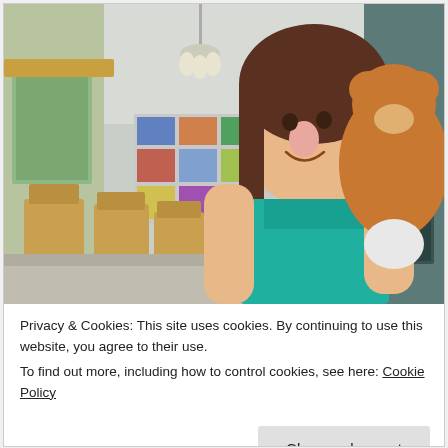[Figure (photo): A young girl smiling and hugging a stuffed animal bear in a home interior. The room has wooden chairs, a chandelier, sliding glass windows with greenery outside, and photos on the wall.]
Privacy & Cookies: This site uses cookies. By continuing to use this website, you agree to their use.
To find out more, including how to control cookies, see here: Cookie Policy